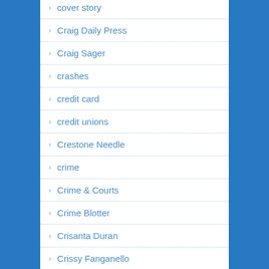cover story
Craig Daily Press
Craig Sager
crashes
credit card
credit unions
Crestone Needle
crime
Crime & Courts
Crime Blotter
Crisanta Duran
Crissy Fanganello
Cristhian Adames
Cristiano Ronaldo